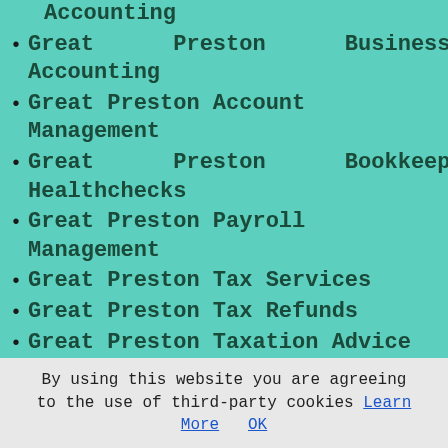Accounting
Great Preston Business Accounting
Great Preston Account Management
Great Preston Bookkeeping Healthchecks
Great Preston Payroll Management
Great Preston Tax Services
Great Preston Tax Refunds
Great Preston Taxation Advice
Great Preston Chartered Accountants
Great Preston PAYE Healthchecks
Great Preston VAT Returns
By using this website you are agreeing to the use of third-party cookies Learn More OK